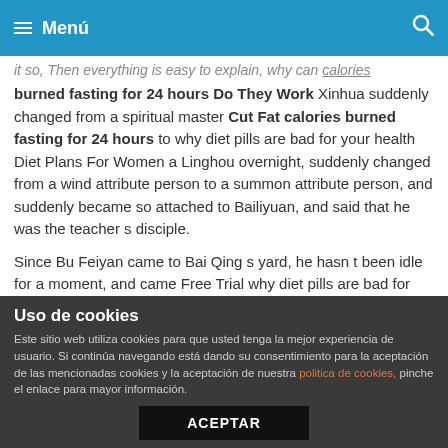Menú
it so, Then everything is easy to explain, why can calories burned fasting for 24 hours Do They Work Xinhua suddenly changed from a spiritual master Cut Fat calories burned fasting for 24 hours to why diet pills are bad for your health Diet Plans For Women a Linghou overnight, suddenly changed from a wind attribute person to a summon attribute person, and suddenly became so attached to Bailiyuan, and said that he was the teacher s disciple.
Since Bu Feiyan came to Bai Qing s yard, he hasn t been idle for a moment, and came Free Trial why diet pills are bad for your health in from time to time to help Bai Qing get his pulse.
Very light, but it can be absorbed. Moreover, there is still a level will creatine make me look fat up fruit that has not been
Uso de cookies
Este sitio web utiliza cookies para que usted tenga la mejor experiencia de usuario. Si continúa navegando está dando su consentimiento para la aceptación de las mencionadas cookies y la aceptación de nuestra politica de cookies, pinche el enlace para mayor información.